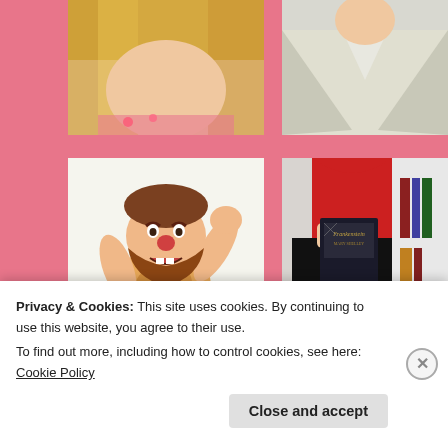[Figure (photo): Top-left photo: close-up of a person with long blond hair, wearing a floral top, with pink background.]
[Figure (photo): Top-right photo: person in a white/cream coat or jacket, upper body shot.]
[Figure (illustration): Middle-left illustration: cartoon caveman with brown beard, wearing animal skin, scratching his head, holding a club, standing on grass.]
[Figure (photo): Middle-right photo: person in red top and black skirt holding a dark Frankenstein book, standing in front of a bookshelf.]
[Figure (photo): Bottom-left: dark/black image, partially visible.]
[Figure (photo): Bottom-right: red and bookshelf image, partially visible.]
Privacy & Cookies: This site uses cookies. By continuing to use this website, you agree to their use.
To find out more, including how to control cookies, see here: Cookie Policy
Close and accept